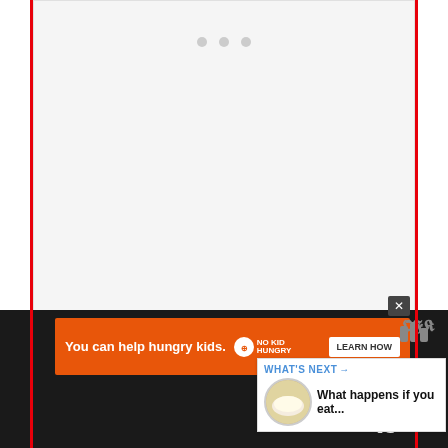[Figure (screenshot): Webpage screenshot showing a food article. Top portion has a light gray image placeholder area with three gray dots at the top (carousel indicator). Below is a large bold serif title 'Freeze-Dried Mango Pulp And Powder:'. A blue circular favorite/heart button and a gray circular share button appear on the right side. A 'WHAT'S NEXT' panel shows a thumbnail of a creamy dish with text 'What happens if you eat...'. The bottom shows a dark bar with an orange 'No Kid Hungry' advertisement banner and a Wunderground icon. Partial text 'to' is visible at the bottom right.]